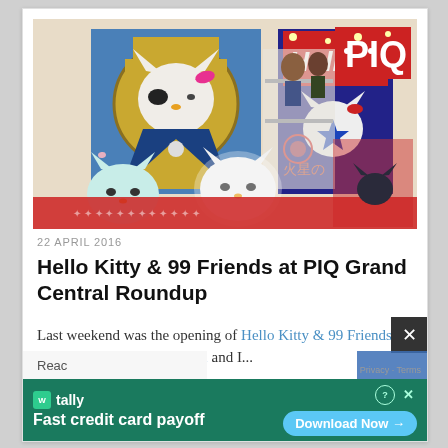[Figure (photo): Interior of PIQ store at Grand Central Terminal showing Hello Kitty themed artwork and merchandise. Large painted artworks on wall including Hello Kitty as Egyptian pharaoh and Hello Kitty in space/Japanese style. White Hello Kitty figurines in foreground, shoppers browsing merchandise in background. PIQ logo in red top right corner.]
22 APRIL 2016
Hello Kitty & 99 Friends at PIQ Grand Central Roundup
Last weekend was the opening of Hello Kitty & 99 Friends at PIQ Grand Central Terminal and I...
Read
tally Fast credit card payoff
Download Now →
Privacy · Terms